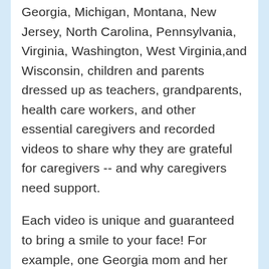Georgia, Michigan, Montana, New Jersey, North Carolina, Pennsylvania, Virginia, Washington, West Virginia,and Wisconsin, children and parents dressed up as teachers, grandparents, health care workers, and other essential caregivers and recorded videos to share why they are grateful for caregivers -- and why caregivers need support.
Each video is unique and guaranteed to bring a smile to your face! For example, one Georgia mom and her kids went door to door passing out buttons to her caregiving neighbors, and then videotaped their reactions of surprise and gratitude. Another volunteer videotaped a classroom